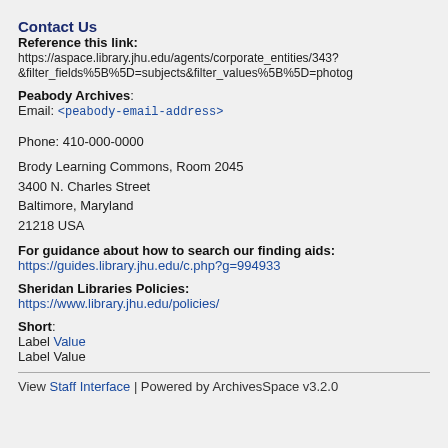Contact Us
Reference this link:
https://aspace.library.jhu.edu/agents/corporate_entities/343?&filter_fields%5B%5D=subjects&filter_values%5B%5D=photog
Peabody Archives:
Email: <peabody-email-address>
Phone: 410-000-0000
Brody Learning Commons, Room 2045
3400 N. Charles Street
Baltimore, Maryland
21218 USA
For guidance about how to search our finding aids:
https://guides.library.jhu.edu/c.php?g=994933
Sheridan Libraries Policies:
https://www.library.jhu.edu/policies/
Short:
Label Value
Label Value
View Staff Interface | Powered by ArchivesSpace v3.2.0